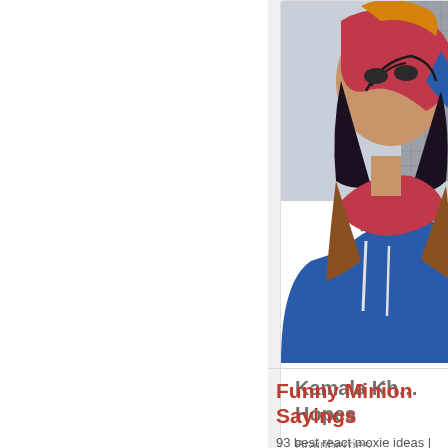[Figure (photo): A person in a Kamala Khan / Ms. Marvel cosplay costume with red and blue suit and gold accents, photographed from torso up against an urban background]
Kamala Kh... Hopes
Brainberries
Funny Minion Sayings
93 best react moxie ideas | funny quotes...